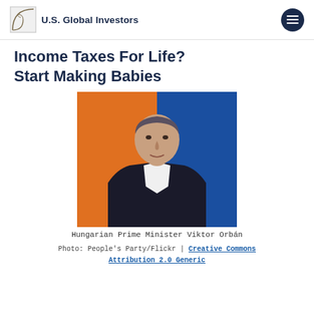U.S. Global Investors
Income Taxes For Life? Start Making Babies
[Figure (photo): Hungarian Prime Minister Viktor Orbán, a middle-aged man in a dark suit with white shirt, photographed in front of an orange and blue background.]
Hungarian Prime Minister Viktor Orbán
Photo: People's Party/Flickr | Creative Commons Attribution 2.0 Generic